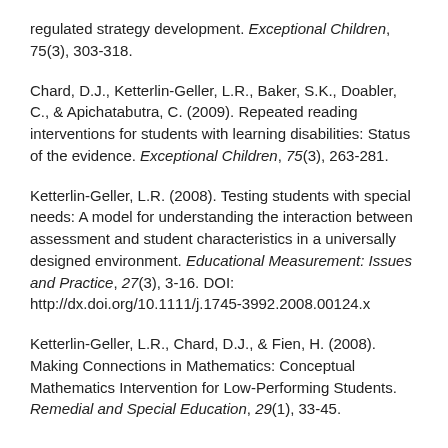regulated strategy development. Exceptional Children, 75(3), 303-318.
Chard, D.J., Ketterlin-Geller, L.R., Baker, S.K., Doabler, C., & Apichatabutra, C. (2009). Repeated reading interventions for students with learning disabilities: Status of the evidence. Exceptional Children, 75(3), 263-281.
Ketterlin-Geller, L.R. (2008). Testing students with special needs: A model for understanding the interaction between assessment and student characteristics in a universally designed environment. Educational Measurement: Issues and Practice, 27(3), 3-16. DOI: http://dx.doi.org/10.1111/j.1745-3992.2008.00124.x
Ketterlin-Geller, L.R., Chard, D.J., & Fien, H. (2008). Making Connections in Mathematics: Conceptual Mathematics Intervention for Low-Performing Students. Remedial and Special Education, 29(1), 33-45.